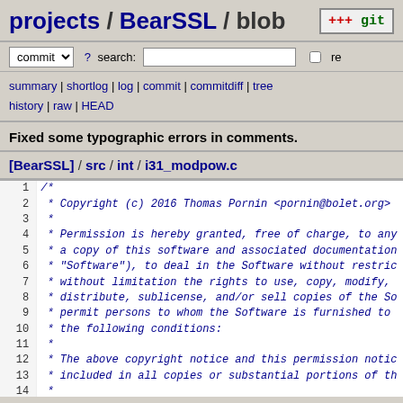projects / BearSSL / blob
commit ? search: re
summary | shortlog | log | commit | commitdiff | tree history | raw | HEAD
Fixed some typographic errors in comments.
[BearSSL] / src / int / i31_modpow.c
1 /*
2  * Copyright (c) 2016 Thomas Pornin <pornin@bolet.org>
3  *
4  * Permission is hereby granted, free of charge, to any
5  * a copy of this software and associated documentation
6  * "Software"), to deal in the Software without restric
7  * without limitation the rights to use, copy, modify,
8  * distribute, sublicense, and/or sell copies of the So
9  * permit persons to whom the Software is furnished to
10  * the following conditions:
11  *
12  * The above copyright notice and this permission notic
13  * included in all copies or substantial portions of th
14  *
15  * THE SOFTWARE IS PROVIDED "AS IS", WITHOUT WARRANTY O
16  * EXPRESS OR IMPLIED, INCLUDING BUT NOT LIMITED TO THE
17  * MERCHANTABILITY, FITNESS FOR A PARTICULAR PURPOSE AN
18  * NONINFRINGEMENT. IN NO EVENT SHALL THE AUTHORS OR CO
19  * BE LIABLE FOR ANY CLAIM, DAMAGES OR OTHER LIABILITY